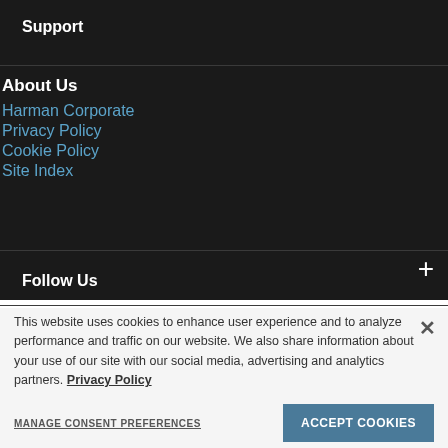Support
About Us
Harman Corporate
Privacy Policy
Cookie Policy
Site Index
Follow Us
This website uses cookies to enhance user experience and to analyze performance and traffic on our website. We also share information about your use of our site with our social media, advertising and analytics partners. Privacy Policy
MANAGE CONSENT PREFERENCES
ACCEPT COOKIES